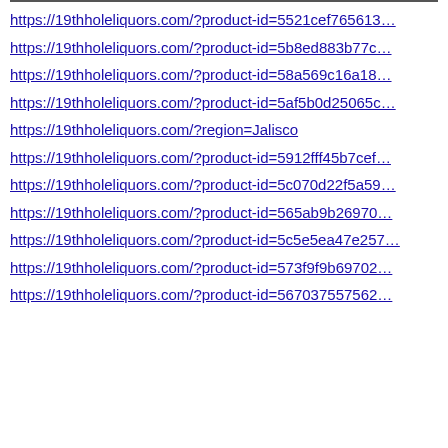https://19thholeliquors.com/?product-id=5521cef765613…
https://19thholeliquors.com/?product-id=5b8ed883b77c…
https://19thholeliquors.com/?product-id=58a569c16a18…
https://19thholeliquors.com/?product-id=5af5b0d25065c…
https://19thholeliquors.com/?region=Jalisco
https://19thholeliquors.com/?product-id=5912fff45b7cef…
https://19thholeliquors.com/?product-id=5c070d22f5a59…
https://19thholeliquors.com/?product-id=565ab9b26970…
https://19thholeliquors.com/?product-id=5c5e5ea47e257…
https://19thholeliquors.com/?product-id=573f9f9b69702…
https://19thholeliquors.com/?product-id=567037557562…